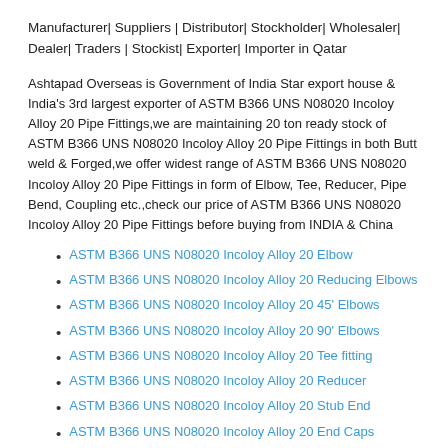Manufacturer| Suppliers | Distributor| Stockholder| Wholesaler| Dealer| Traders | Stockist| Exporter| Importer in Qatar
Ashtapad Overseas is Government of India Star export house & India's 3rd largest exporter of ASTM B366 UNS N08020 Incoloy Alloy 20 Pipe Fittings,we are maintaining 20 ton ready stock of ASTM B366 UNS N08020 Incoloy Alloy 20 Pipe Fittings in both Butt weld & Forged,we offer widest range of ASTM B366 UNS N08020 Incoloy Alloy 20 Pipe Fittings in form of Elbow, Tee, Reducer, Pipe Bend, Coupling etc.,check our price of ASTM B366 UNS N08020 Incoloy Alloy 20 Pipe Fittings before buying from INDIA & China
ASTM B366 UNS N08020 Incoloy Alloy 20 Elbow
ASTM B366 UNS N08020 Incoloy Alloy 20 Reducing Elbows
ASTM B366 UNS N08020 Incoloy Alloy 20 45' Elbows
ASTM B366 UNS N08020 Incoloy Alloy 20 90' Elbows
ASTM B366 UNS N08020 Incoloy Alloy 20 Tee fitting
ASTM B366 UNS N08020 Incoloy Alloy 20 Reducer
ASTM B366 UNS N08020 Incoloy Alloy 20 Stub End
ASTM B366 UNS N08020 Incoloy Alloy 20 End Caps
ASTM B366 UNS N08020 Incoloy Alloy 20 BW CAP
ASTM B366 UNS N08020 Incoloy Alloy 20 Cross Fittings